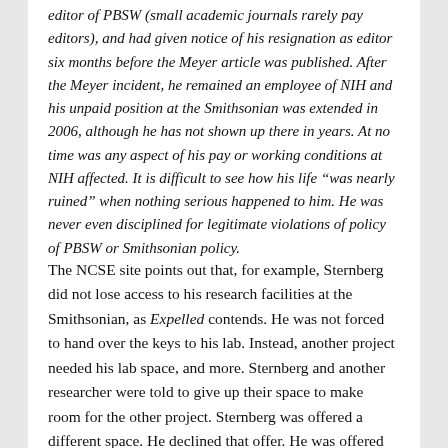editor of PBSW (small academic journals rarely pay editors), and had given notice of his resignation as editor six months before the Meyer article was published. After the Meyer incident, he remained an employee of NIH and his unpaid position at the Smithsonian was extended in 2006, although he has not shown up there in years. At no time was any aspect of his pay or working conditions at NIH affected. It is difficult to see how his life “was nearly ruined” when nothing serious happened to him. He was never even disciplined for legitimate violations of policy of PBSW or Smithsonian policy.
The NCSE site points out that, for example, Sternberg did not lose access to his research facilities at the Smithsonian, as Expelled contends. He was not forced to hand over the keys to his lab. Instead, another project needed his lab space, and more. Sternberg and another researcher were told to give up their space to make room for the other project. Sternberg was offered a different space. He declined that offer. He was offered another space, which he accepted. The Smithsonian changed their access control and replaced mechanical keys with